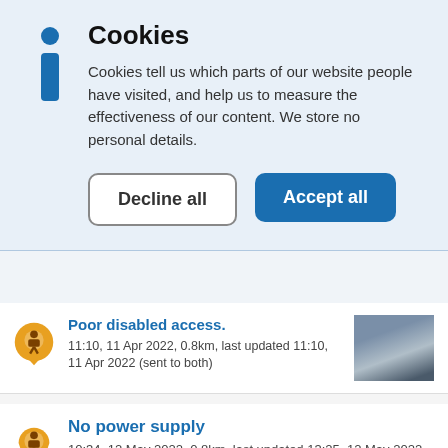Cookies
Cookies tell us which parts of our website people have visited, and help us to measure the effectiveness of our content. We store no personal details.
Decline all | Accept all
Poor disabled access. 11:10, 11 Apr 2022, 0.8km, last updated 11:10, 11 Apr 2022 (sent to both)
No power supply 10:34, 12 May 2022, 0.8km, last updated 13:25, 12 May 2022